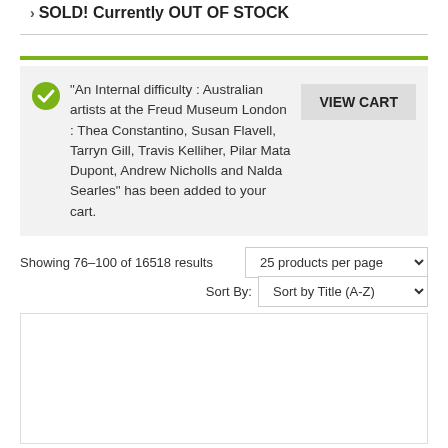SOLD! Currently OUT OF STOCK
“An Internal difficulty : Australian artists at the Freud Museum London : Thea Constantino, Susan Flavell, Tarryn Gill, Travis Kelliher, Pilar Mata Dupont, Andrew Nicholls and Nalda Searles” has been added to your cart.
Showing 76–100 of 16518 results
25 products per page
Sort By: Sort by Title (A-Z)